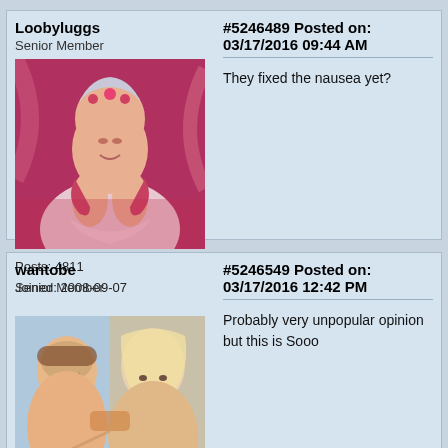Loobyluggs
Senior Member
[Figure (illustration): Avatar image of a painted woman with flowers in hair, pink/red artistic background]
Posts: 4811
Joined: 2008-09-07
#5246489 Posted on: 03/17/2016 09:44 AM
They fixed the nausea yet?
wantobe
Senior Member
[Figure (photo): Avatar photo of two women, one with glasses and one blonde]
#5246549 Posted on: 03/17/2016 12:42 PM
Probably very unpopular opinion but this is Sooo